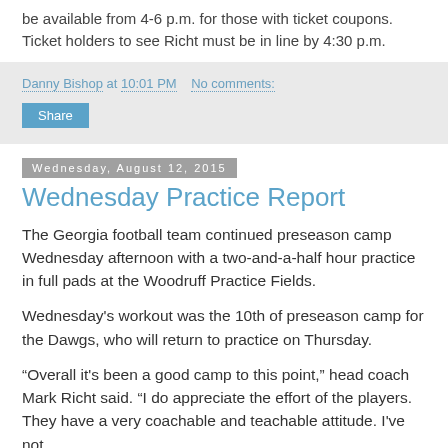be available from 4-6 p.m. for those with ticket coupons. Ticket holders to see Richt must be in line by 4:30 p.m.
Danny Bishop at 10:01 PM   No comments:
Share
Wednesday, August 12, 2015
Wednesday Practice Report
The Georgia football team continued preseason camp Wednesday afternoon with a two-and-a-half hour practice in full pads at the Woodruff Practice Fields.
Wednesday's workout was the 10th of preseason camp for the Dawgs, who will return to practice on Thursday.
“Overall it's been a good camp to this point,” head coach Mark Richt said. “I do appreciate the effort of the players. They have a very coachable and teachable attitude. I've not